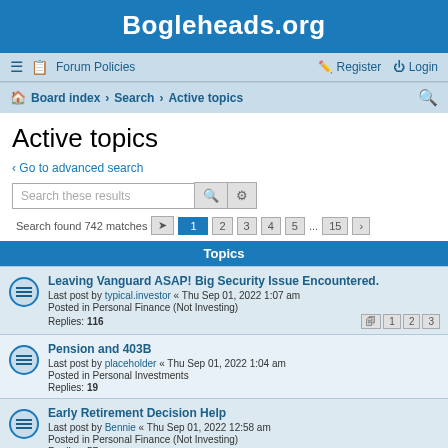Bogleheads.org
Forum Policies | Register | Login
Board index › Search › Active topics
Active topics
Go to advanced search
Search these results
Search found 742 matches  Page 1 2 3 4 5 ... 15
Topics
Leaving Vanguard ASAP! Big Security Issue Encountered.
Last post by typical.investor « Thu Sep 01, 2022 1:07 am
Posted in Personal Finance (Not Investing)
Replies: 116
Pension and 403B
Last post by placeholder « Thu Sep 01, 2022 1:04 am
Posted in Personal Investments
Replies: 19
Early Retirement Decision Help
Last post by Bennie « Thu Sep 01, 2022 12:58 am
Posted in Personal Finance (Not Investing)
Replies: 57